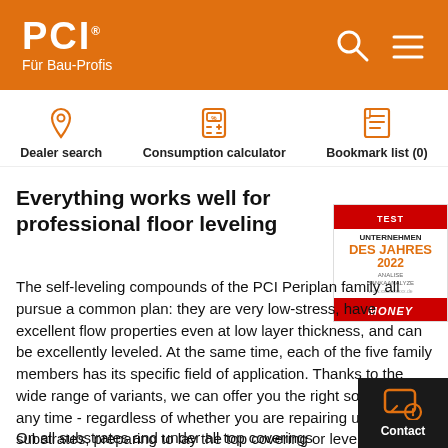PCI – Für Bau-Profis
Dealer search
Consumption calculator
Bookmark list (0)
Everything works well for professional floor leveling
[Figure (photo): Award badge: TEST – Unternehmen des Jahres 2022, MONEY]
The self-leveling compounds of the PCI Periplan family all pursue a common plan: they are very low-stress, have excellent flow properties even at low layer thicknesses, and can be excellently leveled. At the same time, each of the five family members has its specific field of application. Thanks to the wide range of variants, we can offer you the right solution at any time - regardless of whether you are repairing uneven substrates, preparing to lay the top covering or leveling an old floor.
On all substrates and under all top coverings